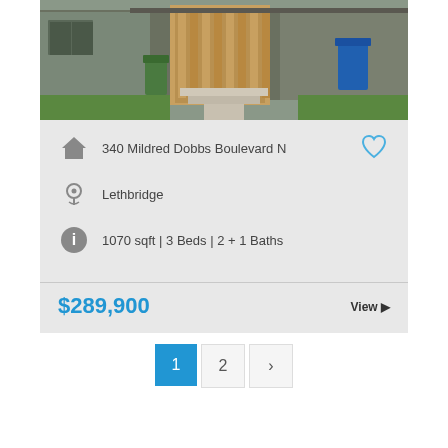[Figure (photo): Exterior photo of a residential property at 340 Mildred Dobbs Boulevard N, showing a townhouse/duplex with wooden fence/gate and blue recycling bin on porch]
340 Mildred Dobbs Boulevard N
Lethbridge
1070 sqft | 3 Beds | 2 + 1 Baths
$289,900
View ▶
1  2  >